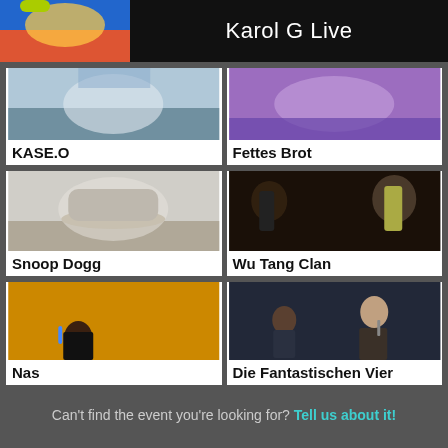Karol G Live
[Figure (photo): KASE.O artist photo]
KASE.O
[Figure (photo): Fettes Brot artist photo]
Fettes Brot
[Figure (photo): Snoop Dogg artist photo - man in hat]
Snoop Dogg
[Figure (photo): Wu Tang Clan live performance photo]
Wu Tang Clan
[Figure (photo): Nas performing live with microphone, bokeh lights background]
Nas
[Figure (photo): Die Fantastischen Vier live performance]
Die Fantastischen Vier
Can't find the event you're looking for? Tell us about it!